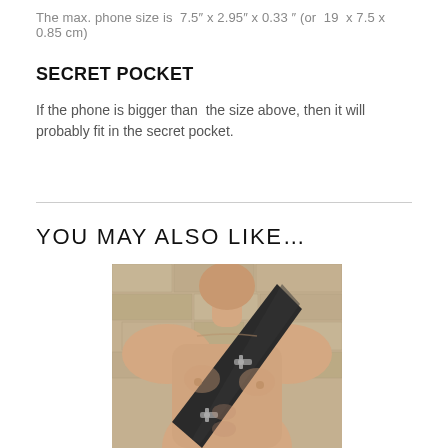The max. phone size is  7.5" x 2.95" x 0.33 " (or  19  x 7.5 x 0.85 cm)
SECRET POCKET
If the phone is bigger than  the size above, then it will probably fit in the secret pocket.
YOU MAY ALSO LIKE…
[Figure (photo): Shirtless male model wearing a dark diagonal sling/crossbody bag across his chest, standing in front of a stone wall background.]